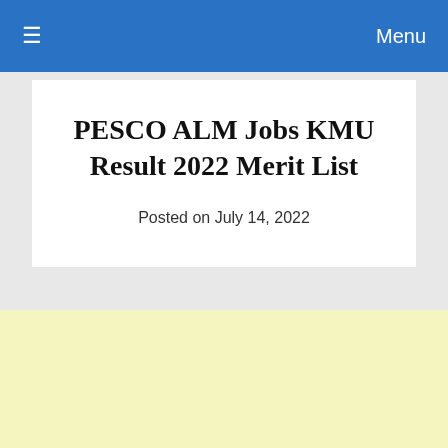≡  Menu
PESCO ALM Jobs KMU Result 2022 Merit List
Posted on July 14, 2022
[Figure (other): Light yellow advertisement or content block area]